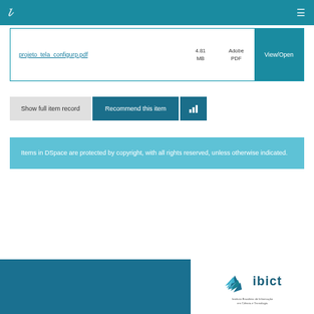DSpace navigation bar with logo and hamburger menu
| Filename | Size | Format | Action |
| --- | --- | --- | --- |
| projeto_tela_configurp.pdf | 4.81 MB | Adobe PDF | View/Open |
Show full item record
Recommend this item
Items in DSpace are protected by copyright, with all rights reserved, unless otherwise indicated.
[Figure (logo): IBICT (Instituto Brasileiro de Informação em Ciência e Tecnologia) logo with stylized bird icon]